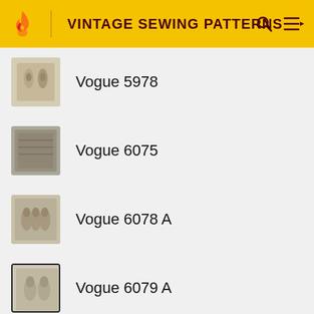VINTAGE SEWING PATTERNS
Vogue 5978
Vogue 6075
Vogue 6078 A
Vogue 6079 A
Vogue 6082 B
Vogue 6291
Vogue 6706